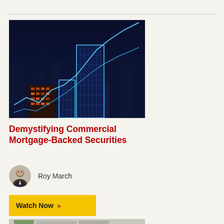[Figure (photo): Dark blue city skyline at night with glowing financial chart lines overlaid, showing bar chart outlines and a rising line graph in neon blue against illuminated skyscrapers]
Demystifying Commercial Mortgage-Backed Securities
Roy March
Watch Now